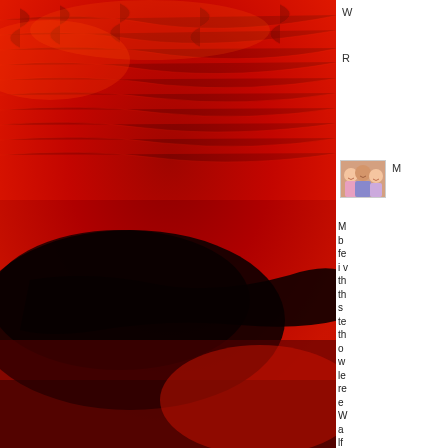[Figure (photo): Large photograph of a dark red, textured surface resembling crinkled red leather or a red liquid/oil surface, with a large dark black patch in the center-left area. The image dominates the left and central portions of the page.]
[Figure (photo): Small profile photo thumbnail in the upper right corner showing a man with two children smiling.]
W
R
M
M b fe i v th th s te th o w le re e W a lf